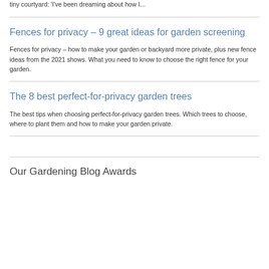tiny courtyard: 'I've been dreaming about how I...
Fences for privacy – 9 great ideas for garden screening
Fences for privacy – how to make your garden or backyard more private, plus new fence ideas from the 2021 shows. What you need to know to choose the right fence for your garden.
The 8 best perfect-for-privacy garden trees
The best tips when choosing perfect-for-privacy garden trees. Which trees to choose, where to plant them and how to make your garden private.
Our Gardening Blog Awards